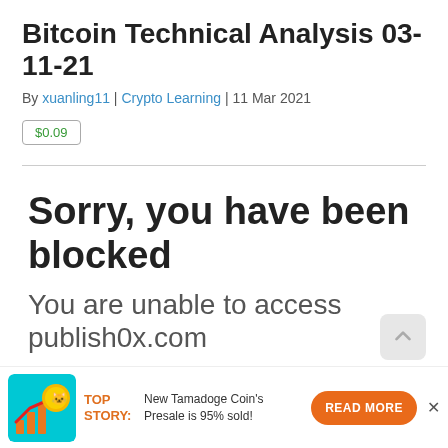Bitcoin Technical Analysis 03-11-21
By xuanling11 | Crypto Learning | 11 Mar 2021
$0.09
Sorry, you have been blocked
You are unable to access publish0x.com
TOP STORY: New Tamadoge Coin's Presale is 95% sold!